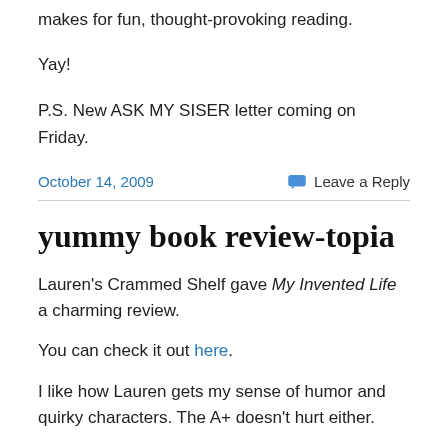makes for fun, thought-provoking reading.
Yay!
P.S. New ASK MY SISER letter coming on Friday.
October 14, 2009    💬 Leave a Reply
yummy book review-topia
Lauren's Crammed Shelf gave My Invented Life a charming review.
You can check it out here.
I like how Lauren gets my sense of humor and quirky characters. The A+ doesn't hurt either.